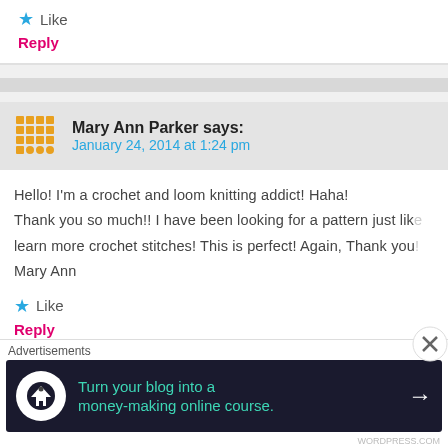Like
Reply
Mary Ann Parker says:
January 24, 2014 at 1:24 pm
Hello! I'm a crochet and loom knitting addict! Haha! Thank you so much!! I have been looking for a pattern just like this to learn more crochet stitches! This is perfect! Again, Thank you! Mary Ann
Like
Reply
HannahDavis says:
Advertisements
Turn your blog into a money-making online course.